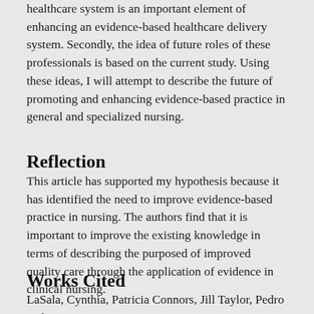healthcare system is an important element of enhancing an evidence-based healthcare delivery system. Secondly, the idea of future roles of these professionals is based on the current study. Using these ideas, I will attempt to describe the future of promoting and enhancing evidence-based practice in general and specialized nursing.
Reflection
This article has supported my hypothesis because it has identified the need to improve evidence-based practice in nursing. The authors find that it is important to improve the existing knowledge in terms of describing the purposed of improved quality care through the application of evidence in clinical nursing.
Works Cited
LaSala, Cynthia, Patricia Connors, Jill Taylor, Pedro and...